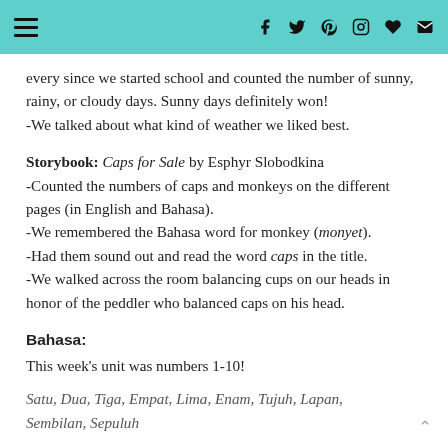Navigation menu and social icons
every since we started school and counted the number of sunny, rainy, or cloudy days. Sunny days definitely won!
-We talked about what kind of weather we liked best.
Storybook: Caps for Sale by Esphyr Slobodkina
-Counted the numbers of caps and monkeys on the different pages (in English and Bahasa).
-We remembered the Bahasa word for monkey (monyet).
-Had them sound out and read the word caps in the title.
-We walked across the room balancing cups on our heads in honor of the peddler who balanced caps on his head.
Bahasa:
This week's unit was numbers 1-10!
Satu, Dua, Tiga, Empat, Lima, Enam, Tujuh, Lapan, Sembilan, Sepuluh